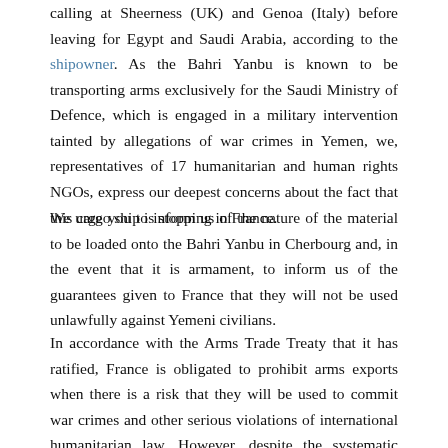calling at Sheerness (UK) and Genoa (Italy) before leaving for Egypt and Saudi Arabia, according to the shipowner. As the Bahri Yanbu is known to be transporting arms exclusively for the Saudi Ministry of Defence, which is engaged in a military intervention tainted by allegations of war crimes in Yemen, we, representatives of 17 humanitarian and human rights NGOs, express our deepest concerns about the fact that this cargo ship is stopping in France.
We urge you to inform us of the nature of the material to be loaded onto the Bahri Yanbu in Cherbourg and, in the event that it is armament, to inform us of the guarantees given to France that they will not be used unlawfully against Yemeni civilians.
In accordance with the Arms Trade Treaty that it has ratified, France is obligated to prohibit arms exports when there is a risk that they will be used to commit war crimes and other serious violations of international humanitarian law. However, despite the systematic violations by the coalition led by Saudi Arabia and the